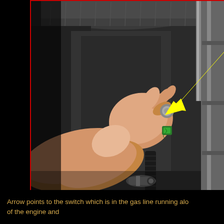[Figure (photo): Photo of a hand reaching into an engine bay, with a yellow arrow pointing to a switch in the gas line running along the side of the engine. The arrow points to a connector/switch component. The image has a red border.]
Arrow points to the switch which is in the gas line running along the side of the engine and